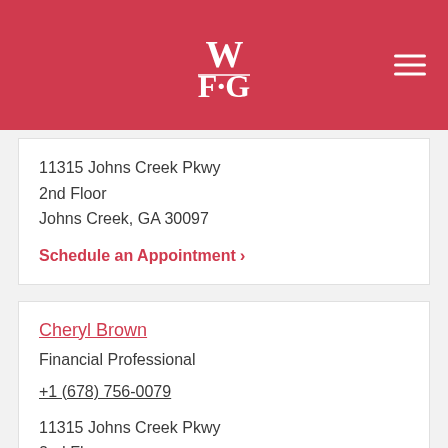WFG logo and navigation
11315 Johns Creek Pkwy
2nd Floor
Johns Creek, GA 30097
Schedule an Appointment >
Cheryl Brown
Financial Professional
+1 (678) 756-0079
11315 Johns Creek Pkwy
2nd Floor
Johns Creek, GA 30097